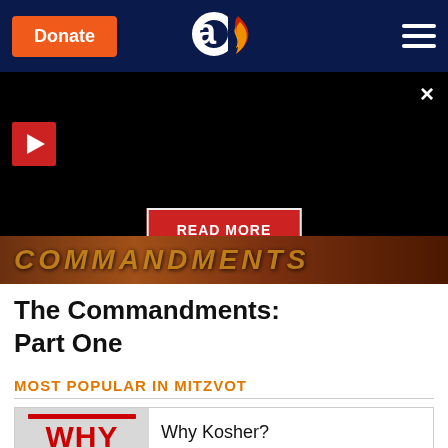Donate | Aish.com logo | Menu
[Figure (screenshot): Dark overlay with play button, READ MORE button, and partial gold text image at bottom showing commandments-themed graphic]
The Commandments: Part One
MOST POPULAR IN MITZVOT
[Figure (screenshot): Thumbnail card for 'Why Kosher?' article with WHY text in red and pig silhouettes]
Why Kosher?